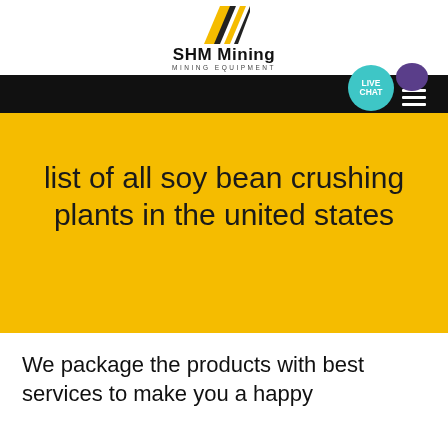[Figure (logo): SHM Mining logo with yellow and black diagonal stripe icon, company name 'SHM Mining' and tagline 'MINING EQUIPMENT']
SHM Mining MINING EQUIPMENT
list of all soy bean crushing plants in the united states
We package the products with best services to make you a happy